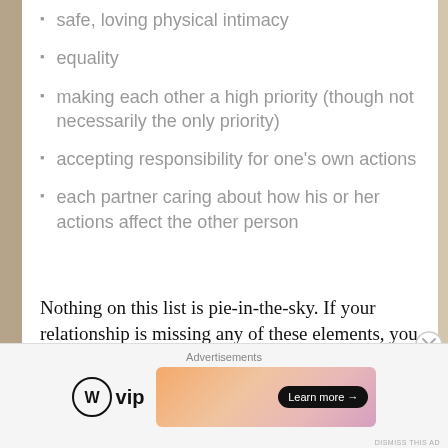safe, loving physical intimacy
equality
making each other a high priority (though not necessarily the only priority)
accepting responsibility for one's own actions
each partner caring about how his or her actions affect the other person
Nothing on this list is pie-in-the-sky. If your relationship is missing any of these elements, you have good reason to want that gap to be attended to– and to insist on it.
Advertisements